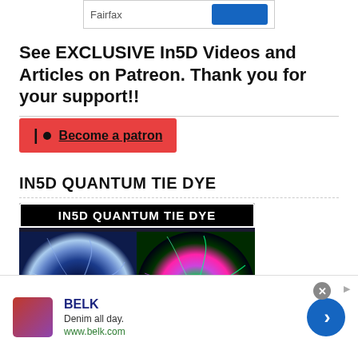[Figure (screenshot): Partial UI widget showing 'Fairfax' text input and a blue button]
See EXCLUSIVE In5D Videos and Articles on Patreon. Thank you for your support!!
[Figure (screenshot): Patreon red button with pipe-circle icon and 'Become a patron' underlined link]
IN5D QUANTUM TIE DYE
[Figure (photo): IN5D QUANTUM TIE DYE banner image showing two tie-dye shirts - one dark spiral and one galactic plasma colorful spiral]
[Figure (screenshot): Advertisement bar: BELK brand ad with logo, 'Denim all day.', 'www.belk.com', close button, and blue arrow navigation button]